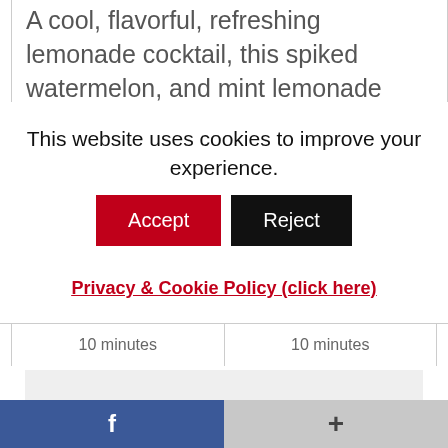A cool, flavorful, refreshing lemonade cocktail, this spiked watermelon, and mint lemonade
This website uses cookies to improve your experience.
Accept
Reject
Privacy & Cookie Policy (click here)
10 minutes
10 minutes
[Figure (other): Light gray image placeholder box]
f
+